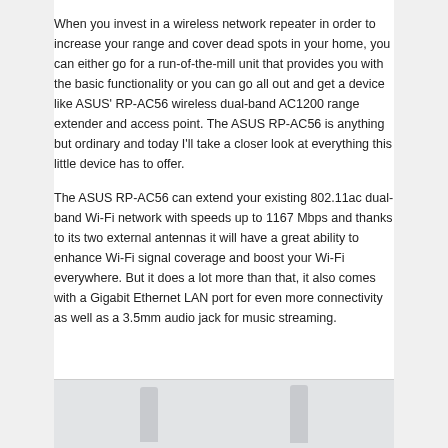When you invest in a wireless network repeater in order to increase your range and cover dead spots in your home, you can either go for a run-of-the-mill unit that provides you with the basic functionality or you can go all out and get a device like ASUS' RP-AC56 wireless dual-band AC1200 range extender and access point. The ASUS RP-AC56 is anything but ordinary and today I'll take a closer look at everything this little device has to offer.
The ASUS RP-AC56 can extend your existing 802.11ac dual-band Wi-Fi network with speeds up to 1167 Mbps and thanks to its two external antennas it will have a great ability to enhance Wi-Fi signal coverage and boost your Wi-Fi everywhere. But it does a lot more than that, it also comes with a Gigabit Ethernet LAN port for even more connectivity as well as a 3.5mm audio jack for music streaming.
[Figure (photo): Photo of the ASUS RP-AC56 wireless range extender showing two external antennas, partially cropped at the bottom of the page.]